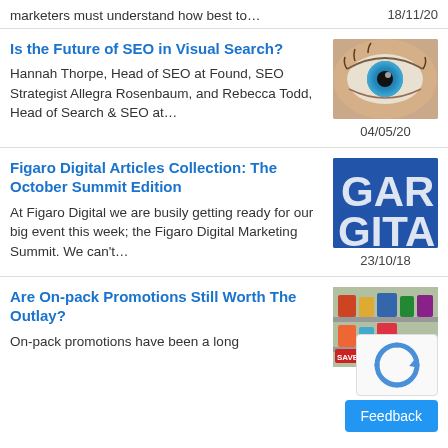marketers must understand how best to…
18/11/20
Is the Future of SEO in Visual Search?
Hannah Thorpe, Head of SEO at Found, SEO Strategist Allegra Rosenbaum, and Rebecca Todd, Head of Search & SEO at…
[Figure (photo): Close-up photo of a blue human eye]
04/05/20
Figaro Digital Articles Collection: The October Summit Edition
At Figaro Digital we are busily getting ready for our big event this week; the Figaro Digital Marketing Summit. We can't…
[Figure (photo): Blue background with large white letters GAR and GITA - partial Figaro Digital logo]
23/10/18
Are On-pack Promotions Still Worth The Outlay?
On-pack promotions have been a long…
[Figure (photo): Supermarket shelf with products - partial image with reCAPTCHA and Feedback button overlay]